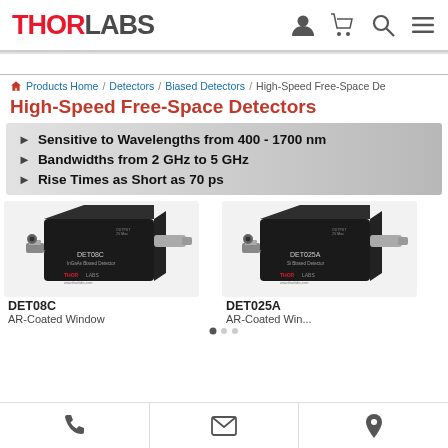THORLABS
Products Home / Detectors / Biased Detectors / High-Speed Free-Space De...
High-Speed Free-Space Detectors
Sensitive to Wavelengths from 400 - 1700 nm
Bandwidths from 2 GHz to 5 GHz
Rise Times as Short as 70 ps
[Figure (photo): DET08C InGaAs Biased Detector with AR-Coated Window, black metal housing with SMA connectors]
DET08C
AR-Coated Window
[Figure (photo): DET025A Si Biased Detector with AR-Coated Window, black metal housing with SMA connectors]
DET025A
AR-Coated Win...
Phone | Email | Location icons